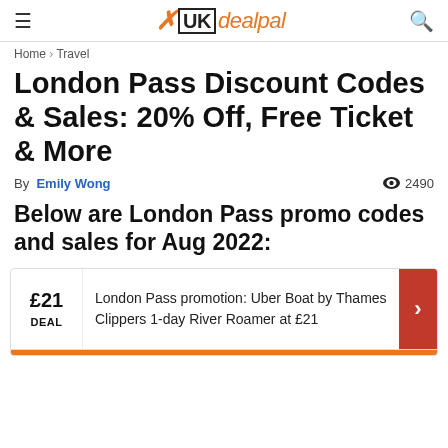UKdealpal
Home › Travel
London Pass Discount Codes & Sales: 20% Off, Free Ticket & More
By Emily Wong • 2490 views
Below are London Pass promo codes and sales for Aug 2022:
£21 DEAL — London Pass promotion: Uber Boat by Thames Clippers 1-day River Roamer at £21